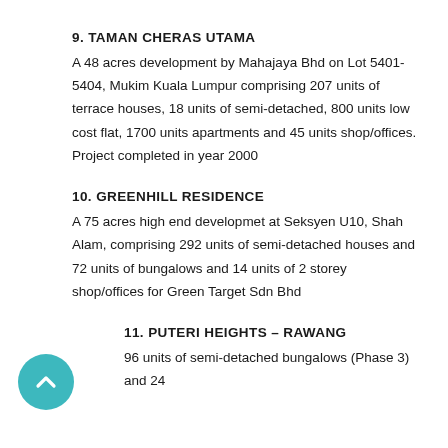9. TAMAN CHERAS UTAMA
A 48 acres development by Mahajaya Bhd on Lot 5401-5404, Mukim Kuala Lumpur comprising 207 units of terrace houses, 18 units of semi-detached, 800 units low cost flat, 1700 units apartments and 45 units shop/offices. Project completed in year 2000
10. GREENHILL RESIDENCE
A 75 acres high end developmet at Seksyen U10, Shah Alam, comprising 292 units of semi-detached houses and 72 units of bungalows and 14 units of 2 storey shop/offices for Green Target Sdn Bhd
11. PUTERI HEIGHTS – RAWANG
96 units of semi-detached bungalows (Phase 3) and 24